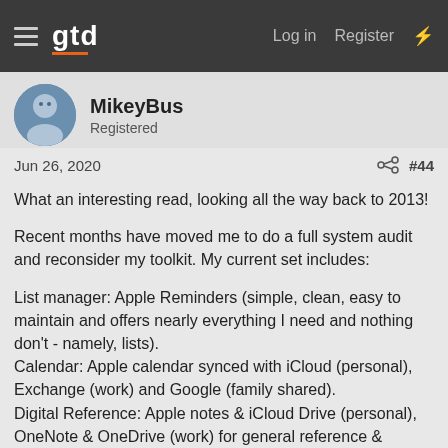gtd  Log in  Register
MikeyBus
Registered
Jun 26, 2020   #44
What an interesting read, looking all the way back to 2013!

Recent months have moved me to do a full system audit and reconsider my toolkit. My current set includes:

List manager: Apple Reminders (simple, clean, easy to maintain and offers nearly everything I need and nothing don't - namely, lists).
Calendar: Apple calendar synced with iCloud (personal), Exchange (work) and Google (family shared).
Digital Reference: Apple notes & iCloud Drive (personal), OneNote & OneDrive (work) for general reference & project support; Safari Reading List for non-essential 'read later.'
Dotted Moleskine journal: monthly habit tracking, daily 'activity